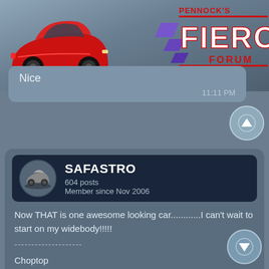[Figure (screenshot): Pennock's Fiero Forum header with red Fiero car illustration and logo]
Nice
11:11 PM
SAFASTRO
604 posts
Member since Nov 2006
Now THAT is one awesome looking car............I can't wait to start on my widebody!!!!!
--------------------
Choptop
Shortened Front Bumper
Shortened Rear Bumper
10" Stretch
Dubs
11:43 PM